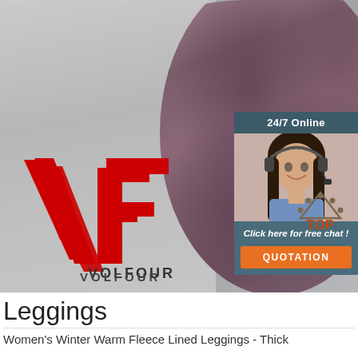[Figure (photo): Product image showing the back view of a mannequin wearing purple/mauve fleece leggings, on a gray textile background with the VOLFOUR brand logo (red V and F letters with 'VOLFOUR' text) on the left side. A customer support chat box overlay on the right shows '24/7 Online', a woman with headset, 'Click here for free chat!' text, and an orange QUOTATION button. A 'TOP' icon with dots appears at the bottom right.]
Leggings
Women's Winter Warm Fleece Lined Leggings - Thick